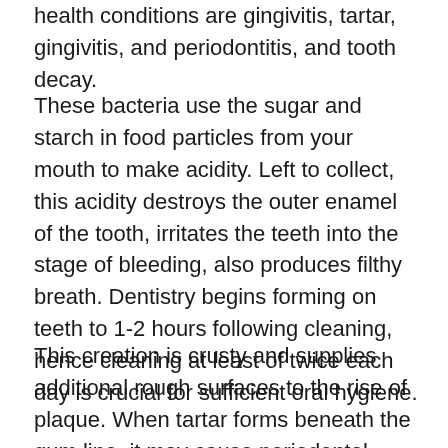health conditions are gingivitis, tartar, gingivitis, and periodontitis, and tooth decay.
These bacteria use the sugar and starch in food particles from your mouth to make acidity. Left to collect, this acidity destroys the outer enamel of the tooth, irritates the teeth into the stage of bleeding, also produces filthy breath. Dentistry begins forming on teeth to 1-2 hours following cleaning, hence cleaning at least of twice each day is crucial for sufficient oral hygiene.
This creation is crusty and supplies additional rough surfaces to the rise of plaque. When tartar forms beneath the gum line, it may cause periodontal disease (gum) disease.